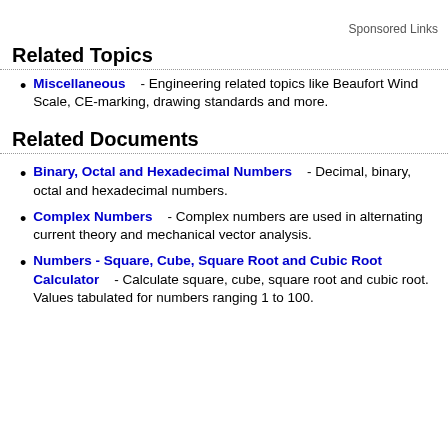Sponsored Links
Related Topics
Miscellaneous - Engineering related topics like Beaufort Wind Scale, CE-marking, drawing standards and more.
Related Documents
Binary, Octal and Hexadecimal Numbers - Decimal, binary, octal and hexadecimal numbers.
Complex Numbers - Complex numbers are used in alternating current theory and mechanical vector analysis.
Numbers - Square, Cube, Square Root and Cubic Root Calculator - Calculate square, cube, square root and cubic root. Values tabulated for numbers ranging 1 to 100.